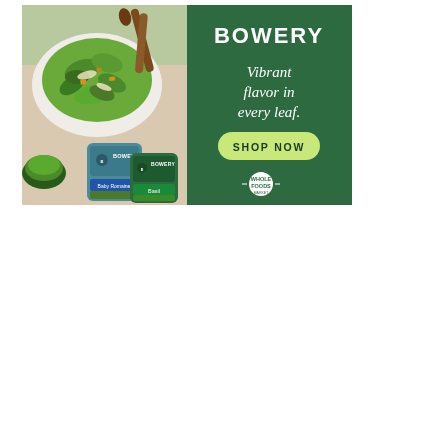[Figure (illustration): Bowery Farm advertisement banner showing a fresh salad with greens on the left side (photo) and a dark green panel on the right with the Bowery brand name, tagline 'Vibrant flavor in every leaf.', a 'SHOP NOW' button, and the Whole Foods Market logo at the bottom. The photo side shows a plate of greens, wooden utensils, a bowl of pesto, and Bowery branded packaged salad products (Baby Romaine and Basil).]